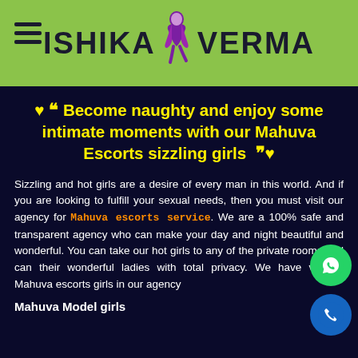ISHIKA VERMA
❤ ““ Become naughty and enjoy some intimate moments with our Mahuva Escorts sizzling girls ”” ❤
Sizzling and hot girls are a desire of every man in this world. And if you are looking to fulfill your sexual needs, then you must visit our agency for Mahuva escorts service. We are a 100% safe and transparent agency who can make your day and night beautiful and wonderful. You can take our hot girls to any of the private rooms and can their wonderful ladies with total privacy. We have various Mahuva escorts girls in our agency
Mahuva Model girls